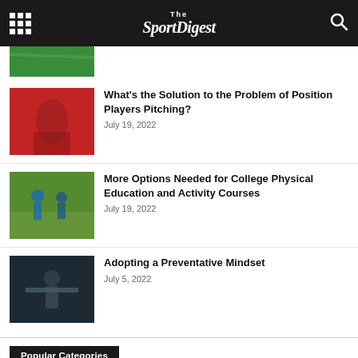The SportDigest
[Figure (photo): Partial image of a sports field with green grass]
What’s the Solution to the Problem of Position Players Pitching? — July 19, 2022
More Options Needed for College Physical Education and Activity Courses — July 19, 2022
Adopting a Preventative Mindset — July 5, 2022
Popular Categories
Olympics 1846